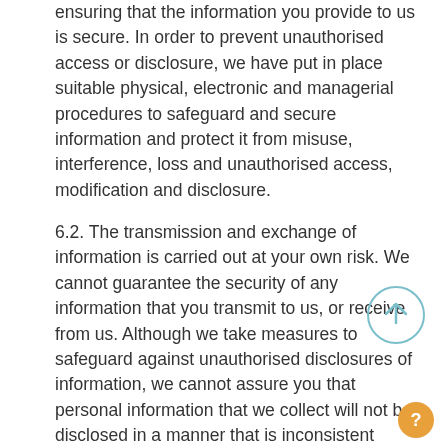ensuring that the information you provide to us is secure. In order to prevent unauthorised access or disclosure, we have put in place suitable physical, electronic and managerial procedures to safeguard and secure information and protect it from misuse, interference, loss and unauthorised access, modification and disclosure.
6.2. The transmission and exchange of information is carried out at your own risk. We cannot guarantee the security of any information that you transmit to us, or receive from us. Although we take measures to safeguard against unauthorised disclosures of information, we cannot assure you that personal information that we collect will not be disclosed in a manner that is inconsistent